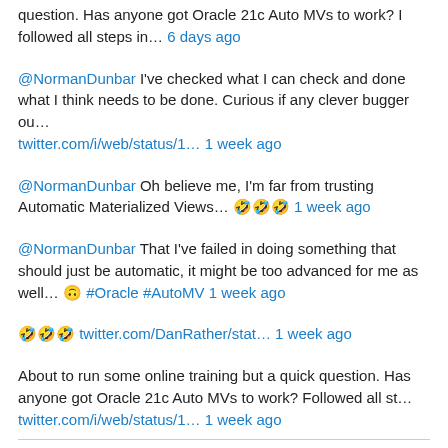question. Has anyone got Oracle 21c Auto MVs to work? I followed all steps in… 6 days ago
@NormanDunbar I've checked what I can check and done what I think needs to be done. Curious if any clever bugger ou… twitter.com/i/web/status/1… 1 week ago
@NormanDunbar Oh believe me, I'm far from trusting Automatic Materialized Views… 🤣🤣🤣 1 week ago
@NormanDunbar That I've failed in doing something that should just be automatic, it might be too advanced for me as well… 🙃 #Oracle #AutoMV 1 week ago
🤣🤣🤣 twitter.com/DanRather/stat… 1 week ago
About to run some online training but a quick question. Has anyone got Oracle 21c Auto MVs to work? Followed all st… twitter.com/i/web/status/1… 1 week ago